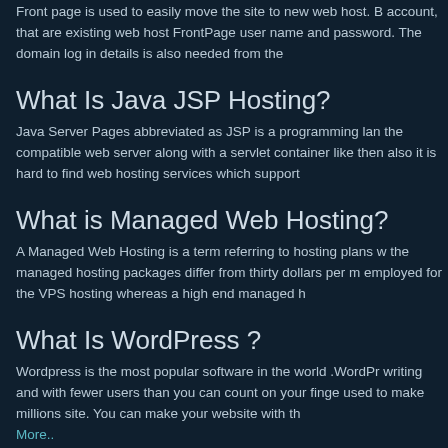Front page is used to easily move the site to new web host. B account, that are existing web host FrontPage user name and password. The domain log in details is also needed from the
What Is Java JSP Hosting?
Java Server Pages abbreviated as JSP is a programming lan the compatible web server along with a servlet container like then also it is hard to find web hosting services which support
What is Managed Web Hosting?
A Managed Web Hosting is a term referring to hosting plans w the managed hosting packages differ from thirty dollars per m employed for the VPS hosting whereas a high end managed h
What Is WordPress ?
Wordpress is the most popular software in the world .WordPr writing and with fewer users than you can count on your finge used to make millions site. You can make your website with th More..
What is Plesk Hosting?
The Plesk is termed as a commercial web host automation co designed in Novosibirsk, Russia. Plesk was owned by the SW